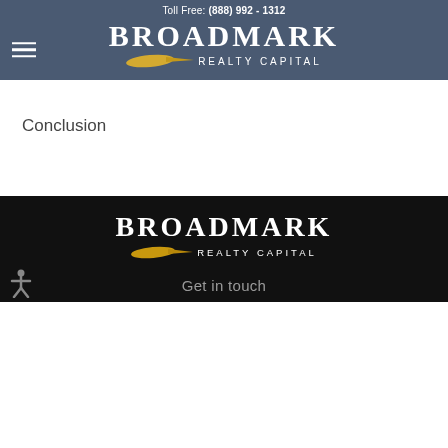Toll Free: (888) 992 - 1312
[Figure (logo): Broadmark Realty Capital logo in header with hamburger menu icon, gold swoosh graphic, white text on dark blue background]
Conclusion
[Figure (logo): Broadmark Realty Capital logo in footer, gold swoosh graphic, white text on black background]
Get in touch